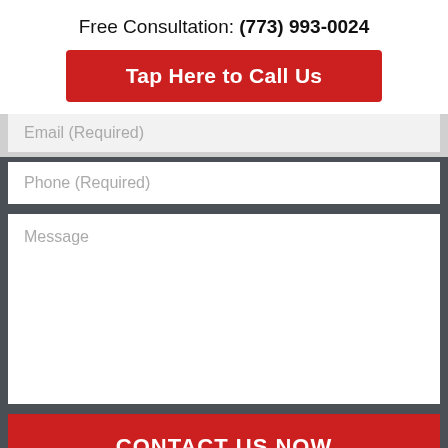Free Consultation: (773) 993-0024
Tap Here to Call Us
Email (Required)
Phone (Required)
Message
CONTACT US NOW